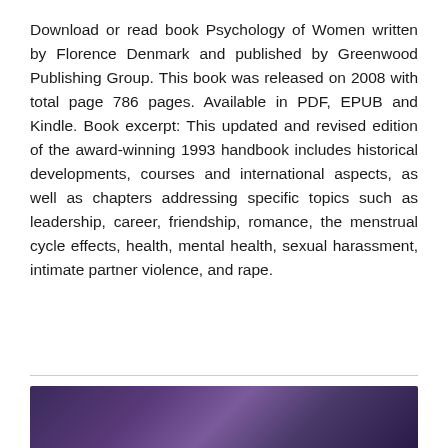Download or read book Psychology of Women written by Florence Denmark and published by Greenwood Publishing Group. This book was released on 2008 with total page 786 pages. Available in PDF, EPUB and Kindle. Book excerpt: This updated and revised edition of the award-winning 1993 handbook includes historical developments, courses and international aspects, as well as chapters addressing specific topics such as leadership, career, friendship, romance, the menstrual cycle effects, health, mental health, sexual harassment, intimate partner violence, and rape.
Feminist Measures in Survey Research
[Figure (photo): Partial view of a book cover with purple/dark tones, cropped at bottom of page]